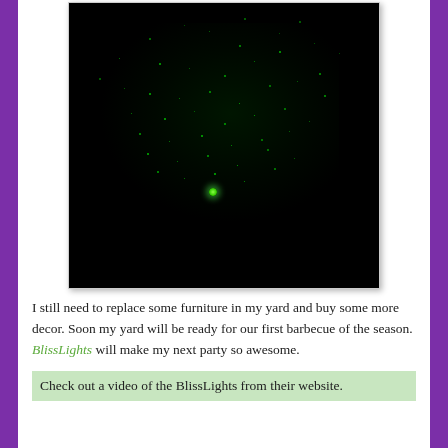[Figure (photo): Dark/black background photo showing green laser light projection with scattered green star-like dots spread across a cloud-shaped area, with a single bright green light source at the bottom center. This is a BlissLights laser star projector illuminating a night sky or surface.]
I still need to replace some furniture in my yard and buy some more decor. Soon my yard will be ready for our first barbecue of the season. BlissLights will make my next party so awesome.
Check out a video of the BlissLights from their website.